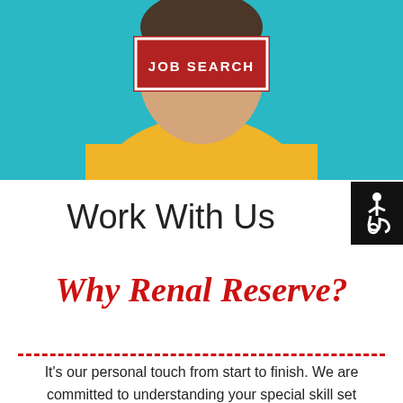[Figure (photo): Hero banner image showing a person in a yellow shirt against a teal background, with a red JOB SEARCH button overlay]
Work With Us
Why Renal Reserve?
It's our personal touch from start to finish. We are committed to understanding your special skill set